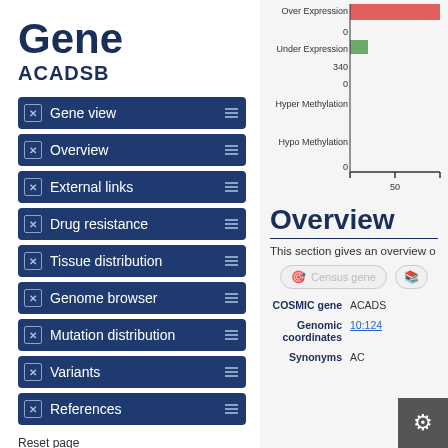Gene
ACADSB
Gene view
Overview
External links
Drug resistance
Tissue distribution
Genome browser
Mutation distribution
Variants
References
Reset page
Search
Search COSMIC...
[Figure (bar-chart): Partial bar chart showing Over Expression, Under Expression (340, 0), Hyper Methylation, Hypo Methylation (0), x-axis label 50]
Overview
This section gives an overview o
Census gene
| Field | Value |
| --- | --- |
| COSMIC gene | ACADS |
| Genomic coordinates | 10:124 |
| Synonyms | AC |